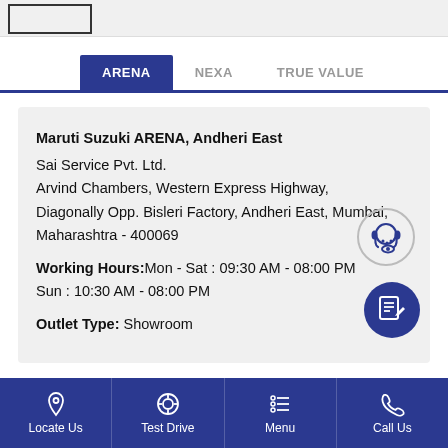[Figure (screenshot): Top bar with a rectangular box outline]
[Figure (screenshot): Tab navigation with ARENA (active/dark blue), NEXA, TRUE VALUE tabs and a blue underline]
Maruti Suzuki ARENA, Andheri East
Sai Service Pvt. Ltd.
Arvind Chambers, Western Express Highway,
Diagonally Opp. Bisleri Factory, Andheri East, Mumbai,
Maharashtra - 400069

Working Hours: Mon - Sat : 09:30 AM - 08:00 PM
Sun : 10:30 AM - 08:00 PM

Outlet Type: Showroom
[Figure (illustration): Circular support/headset icon (outline style)]
[Figure (illustration): Dark blue circle with notes/edit icon]
Locate Us  Test Drive  Menu  Call Us